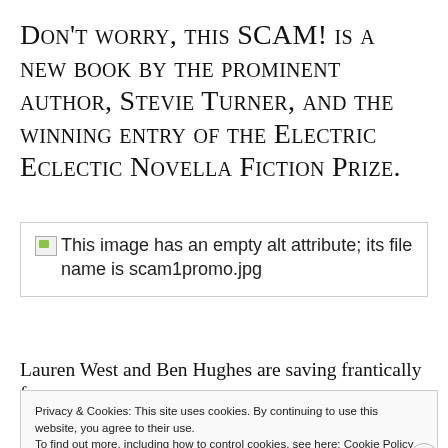Don't worry, this SCAM! is a new book by the prominent author, Stevie Turner, and the winning entry of the Electric Eclectic Novella Fiction Prize.
[Figure (other): Broken image placeholder with text: 'This image has an empty alt attribute; its file name is scam1promo.jpg']
Lauren West and Ben Hughes are saving frantically for
Privacy & Cookies: This site uses cookies. By continuing to use this website, you agree to their use. To find out more, including how to control cookies, see here: Cookie Policy